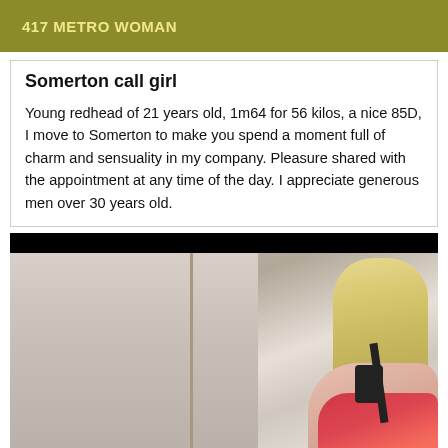417 METRO WOMAN
Somerton call girl
Young redhead of 21 years old, 1m64 for 56 kilos, a nice 85D, I move to Somerton to make you spend a moment full of charm and sensuality in my company. Pleasure shared with the appointment at any time of the day. I appreciate generous men over 30 years old.
[Figure (photo): Mirror selfie photo of a blonde woman wearing a red/black outfit, taken in what appears to be a bathroom. Top portion shows a black bar (redaction). The woman is photographing herself in a mirror.]